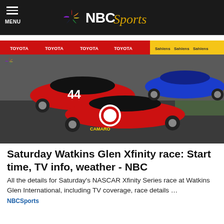NBC Sports
[Figure (photo): NASCAR Xfinity Series race cars on track at Watkins Glen International. A red #47 Camaro with a circular logo leads, alongside a red #44 car and a blue car in the background. Toyota and Sahlens sponsorship banners visible on the wall.]
Saturday Watkins Glen Xfinity race: Start time, TV info, weather - NBC
All the details for Saturday's NASCAR Xfinity Series race at Watkins Glen International, including TV coverage, race details …
NBCSports